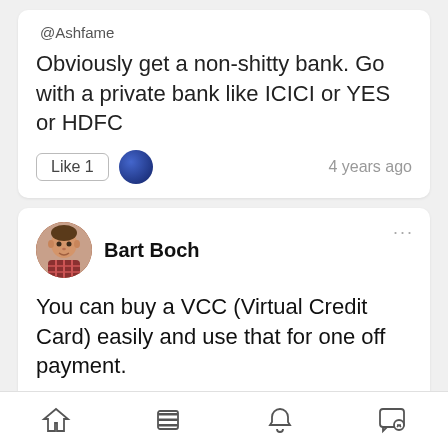@Ashfame
Obviously get a non-shitty bank. Go with a private bank like ICICI or YES or HDFC
Like 1   4 years ago
Bart Boch
You can buy a VCC (Virtual Credit Card) easily and use that for one off payment.
Like 1   4 years ago
Akshay Kadam (A2K)